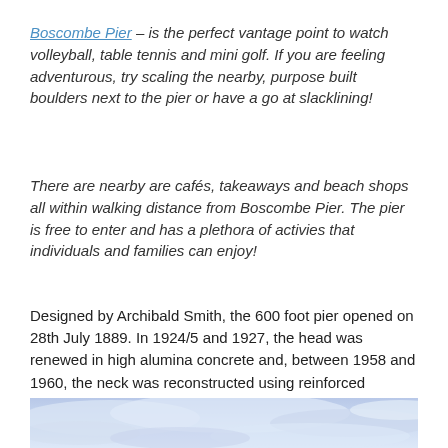Boscombe Pier – is the perfect vantage point to watch volleyball, table tennis and mini golf. If you are feeling adventurous, try scaling the nearby, purpose built boulders next to the pier or have a go at slacklining!
There are nearby are cafés, takeaways and beach shops all within walking distance from Boscombe Pier. The pier is free to enter and has a plethora of activies that individuals and families can enjoy!
Designed by Archibald Smith, the 600 foot pier opened on 28th July 1889. In 1924/5 and 1927, the head was renewed in high alumina concrete and, between 1958 and 1960, the neck was reconstructed using reinforced concrete.
[Figure (photo): Photo of sky with blue and white clouds, bottom portion of an outdoor coastal scene]